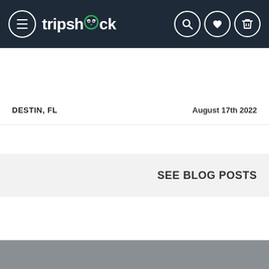tripshock
DESTIN, FL    August 17th 2022
SEE BLOG POSTS
Be in the know!
BE INFORMED ABOUT OUR LATEST OFFERS
YOUR EMAIL   SUBSCRIBE
29 Shares